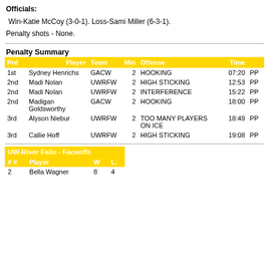Officials:
Win-Katie McCoy (3-0-1). Loss-Sami Miller (6-3-1).
Penalty shots - None.
Penalty Summary
| Prd | Player | Team | Min | Offense | Time |  |
| --- | --- | --- | --- | --- | --- | --- |
| 1st | Sydney Henrichs | GACW | 2 | HOOKING | 07:20 | PP |
| 2nd | Madi Nolan | UWRFW | 2 | HIGH STICKING | 12:53 | PP |
| 2nd | Madi Nolan | UWRFW | 2 | INTERFERENCE | 15:22 | PP |
| 2nd | Madigan Goldsworthy | GACW | 2 | HOOKING | 18:00 | PP |
| 3rd | Alyson Niebur | UWRFW | 2 | TOO MANY PLAYERS ON ICE | 18:49 | PP |
| 3rd | Callie Hoff | UWRFW | 2 | HIGH STICKING | 19:08 | PP |
| UW-River Falls - Faceoffs |  |  |
| --- | --- | --- |
| ## | Player | W | L. |
| 2 | Bella Wagner | 8 | 4 |